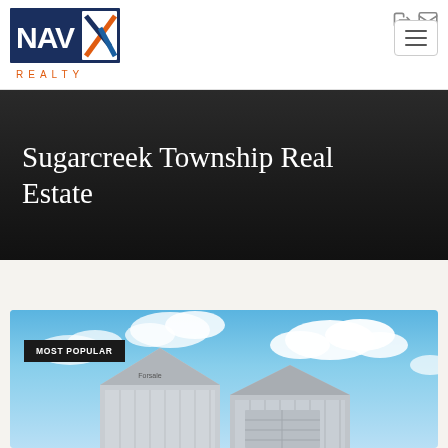NAV-X REALTY
Sugarcreek Township Real Estate
[Figure (photo): Photo of a residential house with white/grey siding and a peaked roof, photographed against a blue sky with white clouds. A 'MOST POPULAR' badge overlays the top-left of the image.]